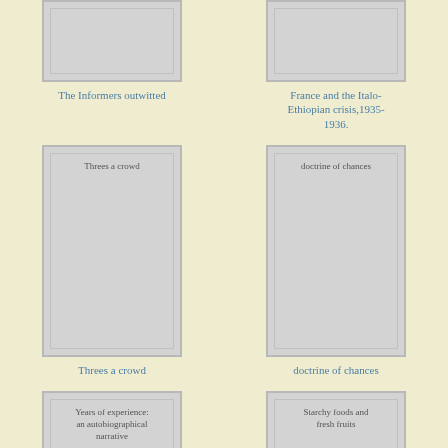[Figure (illustration): Book cover placeholder for 'The Informers outwitted']
The Informers outwitted
[Figure (illustration): Book cover placeholder for 'France and the Italo-Ethiopian crisis,1935-1936.']
France and the Italo-Ethiopian crisis,1935-1936.
[Figure (illustration): Book cover placeholder for 'Threes a crowd']
Threes a crowd
[Figure (illustration): Book cover placeholder for 'doctrine of chances']
doctrine of chances
[Figure (illustration): Book cover placeholder for 'Years of experience: an autobiographical narrative']
[Figure (illustration): Book cover placeholder for 'Starchy foods and fresh fruits']